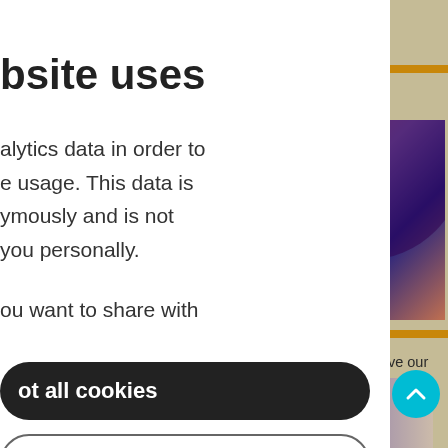bsite uses
alytics data in order to e usage. This data is ymously and is not you personally.
ou want to share with
[Figure (photo): Abstract photo with pink, purple and blue tones showing a glass bottle against a colorful background]
toxic ingredients, animal e ethics of L'Oréal and give our
ot all cookies
y essential cookies
[Figure (photo): Partial photo at bottom of page showing outdoor scene]